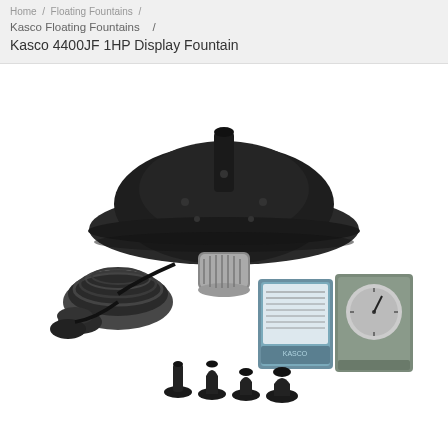Home / Floating Fountains /
Kasco Floating Fountains   /
Kasco 4400JF 1HP Display Fountain
[Figure (photo): Product photo of Kasco 4400JF 1HP Display Fountain showing the floating fountain unit (large black circular floating body with central nozzle), coiled cable, underwater motor/pump, control panel boxes, and a set of four nozzle attachments of varying sizes in the foreground.]